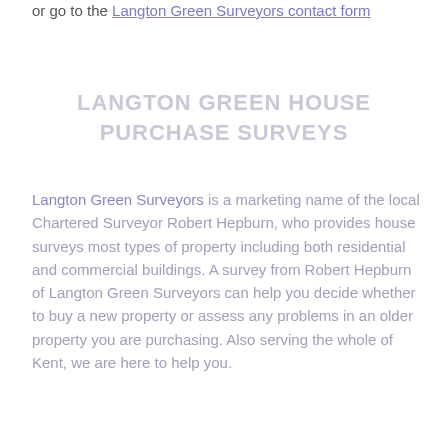or go to the Langton Green Surveyors contact form
LANGTON GREEN HOUSE PURCHASE SURVEYS
Langton Green Surveyors is a marketing name of the local Chartered Surveyor Robert Hepburn, who provides house surveys most types of property including both residential and commercial buildings. A survey from Robert Hepburn of Langton Green Surveyors can help you decide whether to buy a new property or assess any problems in an older property you are purchasing. Also serving the whole of Kent, we are here to help you.